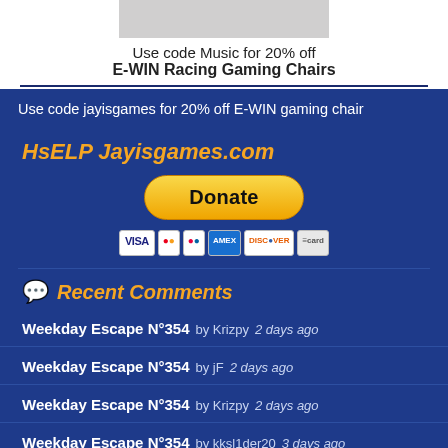[Figure (screenshot): Top portion of gaming chair advertisement image (cut off at top)]
Use code Music for 20% off E-WIN Racing Gaming Chairs
Use code jayisgames for 20% off E-WIN gaming chair
HsELP Jayisgames.com
[Figure (infographic): PayPal Donate button with payment card icons below (VISA, Mastercard, Maestro, American Express, Discover, and another card)]
Recent Comments
Weekday Escape N°354  by Krizpy  2 days ago
Weekday Escape N°354  by jF  2 days ago
Weekday Escape N°354  by Krizpy  2 days ago
Weekday Escape N°354  by kksl1der20  3 days ago
Weekday Escape N°354  by ...